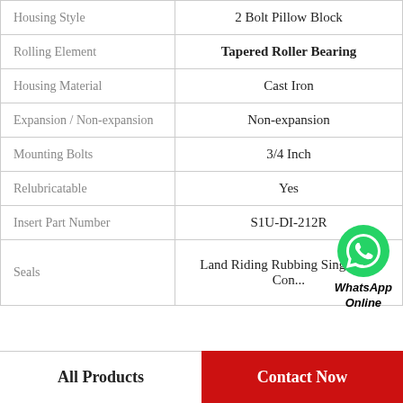| Property | Value |
| --- | --- |
| Housing Style | 2 Bolt Pillow Block |
| Rolling Element | Tapered Roller Bearing |
| Housing Material | Cast Iron |
| Expansion / Non-expansion | Non-expansion |
| Mounting Bolts | 3/4 Inch |
| Relubricatable | Yes |
| Insert Part Number | S1U-DI-212R |
| Seals | Land Riding Rubbing Single Lip Contact |
[Figure (logo): WhatsApp contact button with green phone icon and italic bold text WhatsApp Online]
All Products    Contact Now